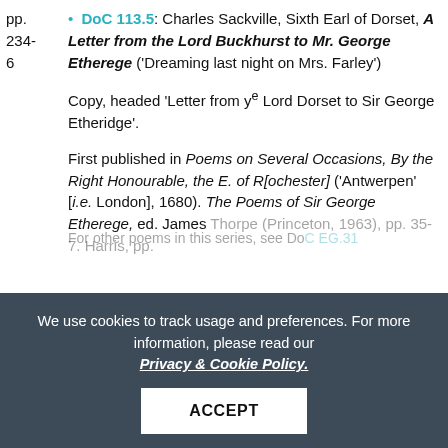pp. 234-6 • DoC 113.5: Charles Sackville, Sixth Earl of Dorset, A Letter from the Lord Buckhurst to Mr. George Etherege ('Dreaming last night on Mrs. Farley')
Copy, headed 'Letter from ye Lord Dorset to Sir George Etheridge'.
First published in Poems on Several Occasions, By the Right Honourable, the E. of R[ochester] ('Antwerpen' [i.e. London], 1680). The Poems of Sir George Etherege, ed. James Thorpe (Princeton, 1963), pp. 35-7. Harris, pp.
For other poems in this series, see DoC EG.31
We use cookies to track usage and preferences. For more information, please read our Privacy & Cookie Policy.